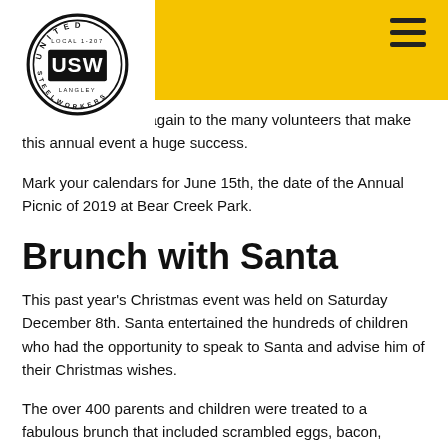United Steelworkers logo and navigation header
heir faces. Thanks again to the many volunteers that make this annual event a huge success.
Mark your calendars for June 15th, the date of the Annual Picnic of 2019 at Bear Creek Park.
Brunch with Santa
This past year's Christmas event was held on Saturday December 8th. Santa entertained the hundreds of children who had the opportunity to speak to Santa and advise him of their Christmas wishes.
The over 400 parents and children were treated to a fabulous brunch that included scrambled eggs, bacon, sausages and of course the famous food of Cora Tingley. Children (and adults) were also surprised with the food option of chicken nuggets